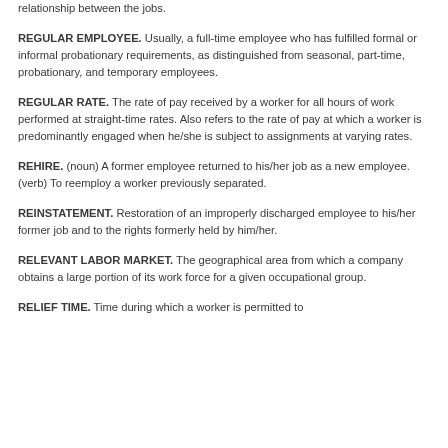relationship between the jobs.
REGULAR EMPLOYEE. Usually, a full-time employee who has fulfilled formal or informal probationary requirements, as distinguished from seasonal, part-time, probationary, and temporary employees.
REGULAR RATE. The rate of pay received by a worker for all hours of work performed at straight-time rates. Also refers to the rate of pay at which a worker is predominantly engaged when he/she is subject to assignments at varying rates.
REHIRE. (noun) A former employee returned to his/her job as a new employee. (verb) To reemploy a worker previously separated.
REINSTATEMENT. Restoration of an improperly discharged employee to his/her former job and to the rights formerly held by him/her.
RELEVANT LABOR MARKET. The geographical area from which a company obtains a large portion of its work force for a given occupational group.
RELIEF TIME. Time during which a worker is permitted to